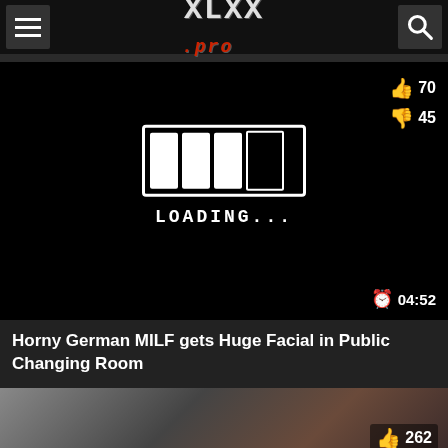XLXX.pro
[Figure (screenshot): Video loading screen on dark background showing a white loading bar graphic with LOADING... text, like count 70, dislike count 45, duration 04:52]
Horny German MILF gets Huge Facial in Public Changing Room
[Figure (photo): Partial thumbnail of a second video with like count 262]